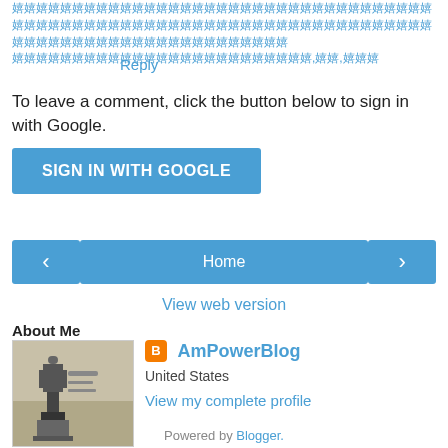[Korean/Chinese characters - link text at top]
Reply
To leave a comment, click the button below to sign in with Google.
[Figure (other): SIGN IN WITH GOOGLE button - blue rectangle button]
[Figure (other): Navigation bar with left arrow button, Home button, and right arrow button]
View web version
About Me
[Figure (photo): Photo of a bronze statue of a figure on a pedestal in a public square]
AmPowerBlog
United States
View my complete profile
Powered by Blogger.